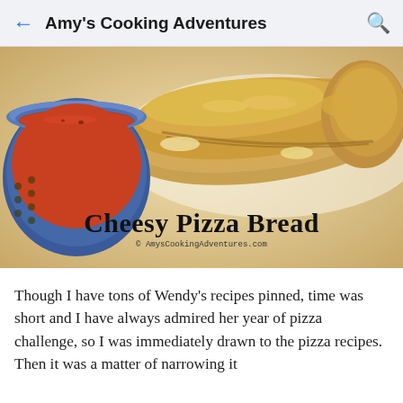← Amy's Cooking Adventures 🔍
[Figure (photo): Photo of cheesy pizza bread loaf next to a blue bowl of marinara/tomato dipping sauce on a wooden cutting board. Text overlay reads 'Cheesy Pizza Bread' and '© AmysCookingAdventures.com']
Though I have tons of Wendy's recipes pinned, time was short and I have always admired her year of pizza challenge, so I was immediately drawn to the pizza recipes.  Then it was a matter of narrowing it